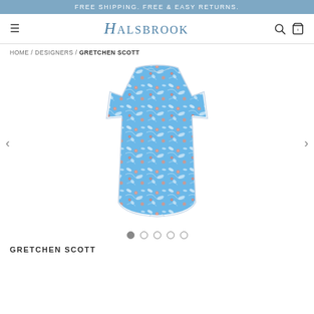FREE SHIPPING. FREE & EASY RETURNS.
[Figure (screenshot): Halsbrook website navigation bar with hamburger menu, Halsbrook logo, search icon, and shopping bag icon]
HOME / DESIGNERS / GRETCHEN SCOTT
[Figure (photo): Gretchen Scott blue and pink floral printed 3/4 sleeve shift dress on white background]
GRETCHEN SCOTT